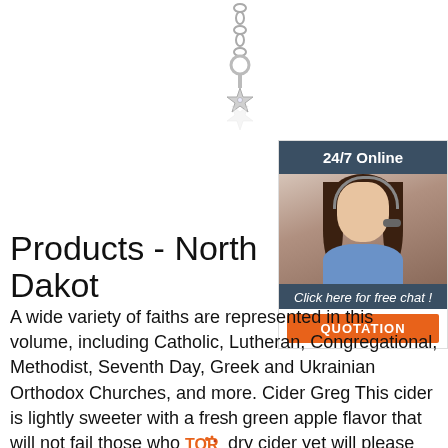[Figure (photo): Silver star charm pendant on a chain, with a small crystal center, photographed against white background]
[Figure (infographic): 24/7 Online customer service sidebar with photo of smiling woman with headset, 'Click here for free chat!' text, and orange QUOTATION button]
Products - North Dakota
A wide variety of faiths are represented in this volume, including Catholic, Lutheran, Congregational, Methodist, Seventh Day, Greek and Ukrainian Orthodox Churches, and more. Cider Greg This cider is lightly sweeter with a fresh green apple flavor that will not fail those who dry cider yet will please those who want a hint of ...
[Figure (logo): TOR logo in orange and red dots with text]